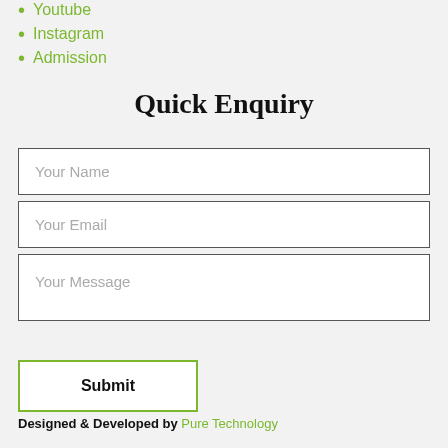Youtube
Instagram
Admission
Quick Enquiry
Your Name
Your Email
Your Message
Submit
Designed & Developed by Pure Technology